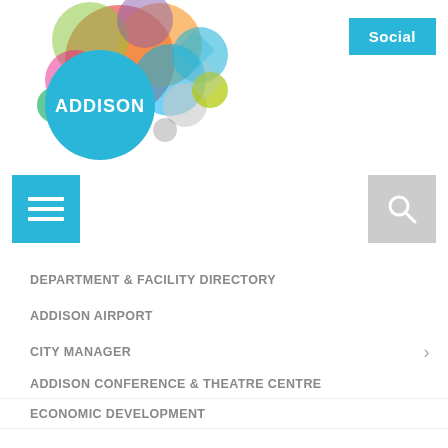[Figure (logo): Addison city logo with colorful overlapping circles and a teal circle with ADDISON text in white]
[Figure (other): Social button in teal/blue]
[Figure (other): Hamburger menu icon in teal square and search magnifying glass icon in gray square]
DEPARTMENT & FACILITY DIRECTORY
ADDISON AIRPORT
CITY MANAGER
ADDISON CONFERENCE & THEATRE CENTRE
ECONOMIC DEVELOPMENT
FINANCE DEPARTMENT
FIRE DEPARTMENT
GENERAL SERVICES
HUMAN RESOURCES